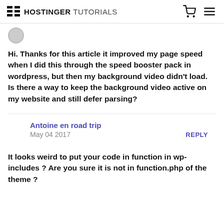HOSTINGER TUTORIALS
Hi. Thanks for this article it improved my page speed when I did this through the speed booster pack in wordpress, but then my background video didn't load. Is there a way to keep the background video active on my website and still defer parsing?
Antoine en road trip
May 04 2017
REPLY
It looks weird to put your code in function in wp-includes ? Are you sure it is not in function.php of the theme ?